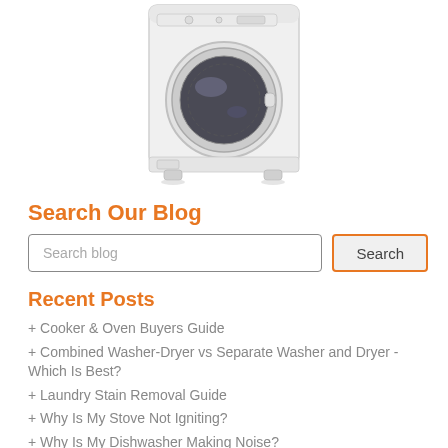[Figure (photo): White front-loading washing machine on white background]
Search Our Blog
Search blog
Recent Posts
+ Cooker & Oven Buyers Guide
+ Combined Washer-Dryer vs Separate Washer and Dryer - Which Is Best?
+ Laundry Stain Removal Guide
+ Why Is My Stove Not Igniting?
+ Why Is My Dishwasher Making Noise?